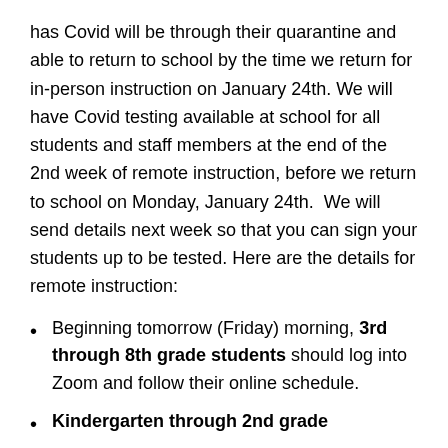has Covid will be through their quarantine and able to return to school by the time we return for in-person instruction on January 24th. We will have Covid testing available at school for all students and staff members at the end of the 2nd week of remote instruction, before we return to school on Monday, January 24th. We will send details next week so that you can sign your students up to be tested. Here are the details for remote instruction:
Beginning tomorrow (Friday) morning, 3rd through 8th grade students should log into Zoom and follow their online schedule.
Kindergarten through 2nd grade